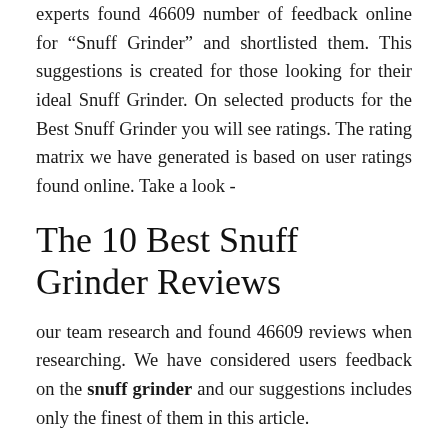experts found 46609 number of feedback online for "Snuff Grinder" and shortlisted them. This suggestions is created for those looking for their ideal Snuff Grinder. On selected products for the Best Snuff Grinder you will see ratings. The rating matrix we have generated is based on user ratings found online. Take a look -
The 10 Best Snuff Grinder Reviews
our team research and found 46609 reviews when researching. We have considered users feedback on the snuff grinder and our suggestions includes only the finest of them in this article.
Comparison Chart of Top 10 snuff grinder